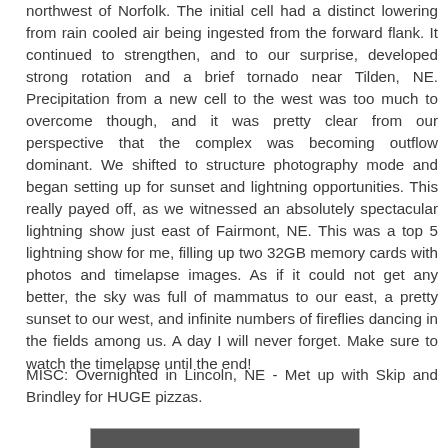northwest of Norfolk. The initial cell had a distinct lowering from rain cooled air being ingested from the forward flank. It continued to strengthen, and to our surprise, developed strong rotation and a brief tornado near Tilden, NE. Precipitation from a new cell to the west was too much to overcome though, and it was pretty clear from our perspective that the complex was becoming outflow dominant. We shifted to structure photography mode and began setting up for sunset and lightning opportunities. This really payed off, as we witnessed an absolutely spectacular lightning show just east of Fairmont, NE. This was a top 5 lightning show for me, filling up two 32GB memory cards with photos and timelapse images. As if it could not get any better, the sky was full of mammatus to our east, a pretty sunset to our west, and infinite numbers of fireflies dancing in the fields among us. A day I will never forget. Make sure to watch the timelapse until the end!
MISC: Overnighted in Lincoln, NE - Met up with Skip and Brindley for HUGE pizzas.
[Figure (photo): A partial photograph visible at the bottom of the page, showing a dark landscape or storm scene.]